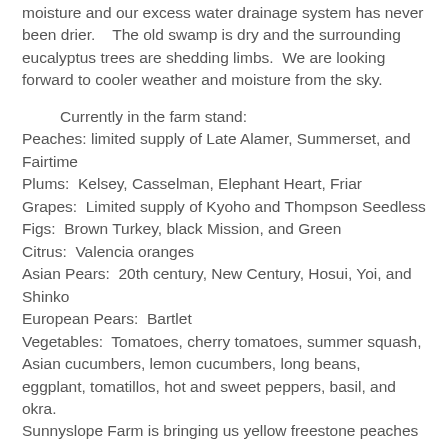moisture and our excess water drainage system has never been drier.    The old swamp is dry and the surrounding eucalyptus trees are shedding limbs.  We are looking forward to cooler weather and moisture from the sky.
Currently in the farm stand:
Peaches: limited supply of Late Alamer, Summerset, and Fairtime
Plums:  Kelsey, Casselman, Elephant Heart, Friar
Grapes:  Limited supply of Kyoho and Thompson Seedless
Figs:  Brown Turkey, black Mission, and Green
Citrus:  Valencia oranges
Asian Pears:  20th century, New Century, Hosui, Yoi, and Shinko
European Pears:  Bartlet
Vegetables:  Tomatoes, cherry tomatoes, summer squash, Asian cucumbers, lemon cucumbers, long beans, eggplant, tomatillos, hot and sweet peppers, basil, and okra.
Sunnyslope Farm is bringing us yellow freestone peaches
Pleasant Hill Farm is bringing us Friar plums and Hosui and Niitaka Asian pears
Other Items:  Good Stuff Jams, Honey, salve, eggs,